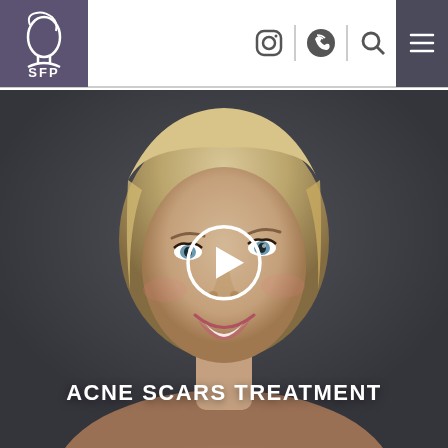[Figure (logo): SFP logo — white cursive face silhouette and text 'SFP' on purple/mauve square background]
[Figure (screenshot): Navigation bar with Instagram icon, phone/call icon, search icon, and hamburger menu icon on dark background]
[Figure (photo): Smiling blonde woman with short bob haircut on dark grey background, with a white circular play button overlay in center]
ACNE SCARS TREATMENT